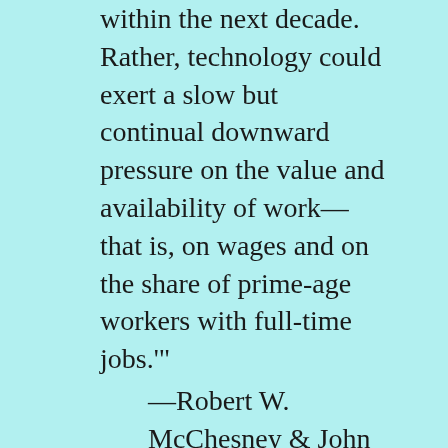within the next decade. Rather, technology could exert a slow but continual downward pressure on the value and availability of work—that is, on wages and on the share of prime-age workers with full-time jobs.'"
—Robert W. McChesney & John Nichols, People Get Ready: The Fight Against